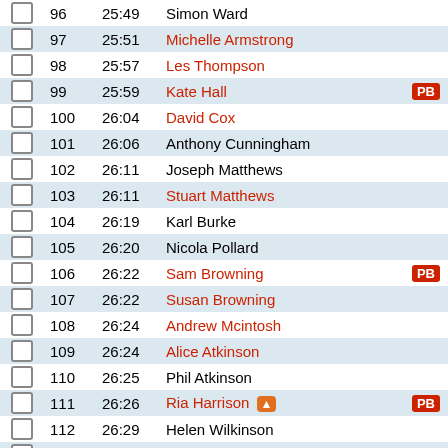|  | Pos | Time | Name | PB | Cat |
| --- | --- | --- | --- | --- | --- |
|  | 96 | 25:49 | Simon Ward |  | V35 |
|  | 97 | 25:51 | Michelle Armstrong |  | V45 |
|  | 98 | 25:57 | Les Thompson |  | V70 |
|  | 99 | 25:59 | Kate Hall | PB | V45 |
|  | 100 | 26:04 | David Cox |  | V65 |
|  | 101 | 26:06 | Anthony Cunningham |  | S30 |
|  | 102 | 26:11 | Joseph Matthews |  | U15 |
|  | 103 | 26:11 | Stuart Matthews |  | V45 |
|  | 104 | 26:19 | Karl Burke |  | V35 |
|  | 105 | 26:20 | Nicola Pollard |  | S30 |
|  | 106 | 26:22 | Sam Browning | PB | U11 |
|  | 107 | 26:22 | Susan Browning |  | V40 |
|  | 108 | 26:24 | Andrew Mcintosh |  | V40 |
|  | 109 | 26:24 | Alice Atkinson |  | U15 |
|  | 110 | 26:25 | Phil Atkinson |  | V45 |
|  | 111 | 26:26 | Ria Harrison 🔥 | PB | S25 |
|  | 112 | 26:29 | Helen Wilkinson |  | V35 |
|  | 113 | 26:40 | Phil Dorr |  | V45 |
|  | 114 | 26:46 | Unknown Athlete |  | SE |
|  | 115 | 26:50 |  | PB |  |